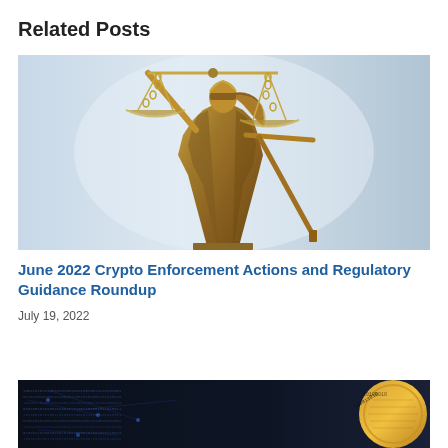Related Posts
[Figure (photo): Bronze statue of Lady Justice (Themis) holding scales, blindfolded, against a light blue background]
June 2022 Crypto Enforcement Actions and Regulatory Guidance Roundup
July 19, 2022
[Figure (photo): Dark digital/technology themed image with binary code and a circular coin/token graphic on the right side]